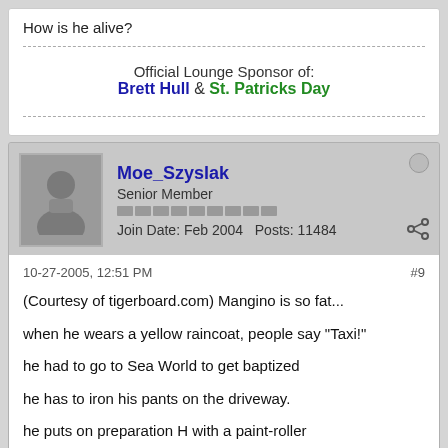How is he alive?
Official Lounge Sponsor of:
Brett Hull & St. Patricks Day
Moe_Szyslak
Senior Member
Join Date: Feb 2004   Posts: 11484
10-27-2005, 12:51 PM   #9
(Courtesy of tigerboard.com) Mangino is so fat...

when he wears a yellow raincoat, people say "Taxi!"

he had to go to Sea World to get baptized

he has to iron his pants on the driveway.

he puts on preparation H with a paint-roller